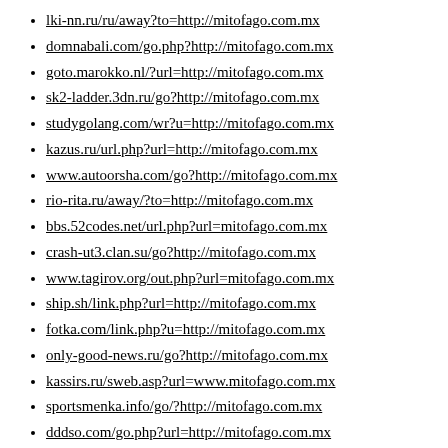lki-nn.ru/ru/away?to=http://mitofago.com.mx
domnabali.com/go.php?http://mitofago.com.mx
goto.marokko.nl/?url=http://mitofago.com.mx
sk2-ladder.3dn.ru/go?http://mitofago.com.mx
studygolang.com/wr?u=http://mitofago.com.mx
kazus.ru/url.php?url=http://mitofago.com.mx
www.autoorsha.com/go?http://mitofago.com.mx
rio-rita.ru/away/?to=http://mitofago.com.mx
bbs.52codes.net/url.php?url=mitofago.com.mx
crash-ut3.clan.su/go?http://mitofago.com.mx
www.tagirov.org/out.php?url=mitofago.com.mx
ship.sh/link.php?url=http://mitofago.com.mx
fotka.com/link.php?u=http://mitofago.com.mx
only-good-news.ru/go?http://mitofago.com.mx
kassirs.ru/sweb.asp?url=www.mitofago.com.mx
sportsmenka.info/go/?http://mitofago.com.mx
dddso.com/go.php?url=http://mitofago.com.mx
lens-club.ru/link?go=http://mitofago.com.mx
ru.i-net.cn/link?url=http://mitofago.com.mx